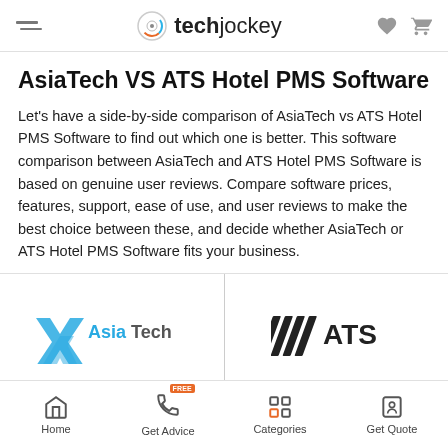techjockey
AsiaTech VS ATS Hotel PMS Software
Let's have a side-by-side comparison of AsiaTech vs ATS Hotel PMS Software to find out which one is better. This software comparison between AsiaTech and ATS Hotel PMS Software is based on genuine user reviews. Compare software prices, features, support, ease of use, and user reviews to make the best choice between these, and decide whether AsiaTech or ATS Hotel PMS Software fits your business.
[Figure (logo): AsiaTech logo (teal/blue X symbol with AsiaTech text)]
[Figure (logo): ATS logo (diagonal lines mark with ATS text)]
Home | Get Advice | Categories | Get Quote